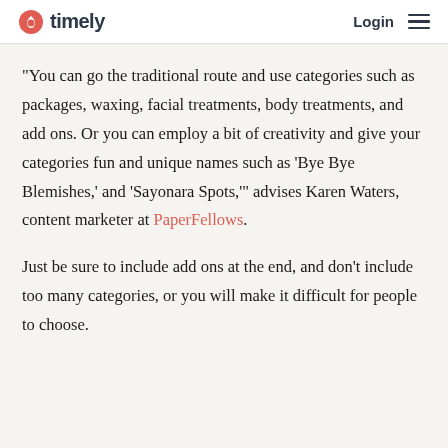timely   Login
“You can go the traditional route and use categories such as packages, waxing, facial treatments, body treatments, and add ons. Or you can employ a bit of creativity and give your categories fun and unique names such as ‘Bye Bye Blemishes,’ and ‘Sayonara Spots,’” advises Karen Waters, content marketer at PaperFellows.
Just be sure to include add ons at the end, and don’t include too many categories, or you will make it difficult for people to choose.